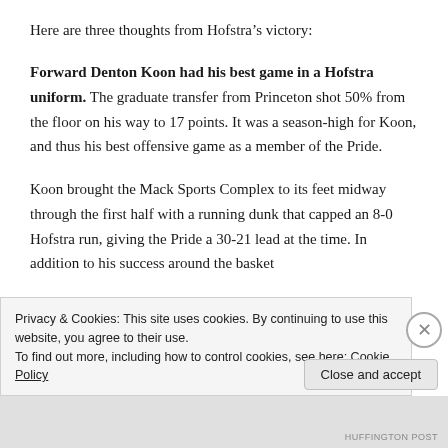Here are three thoughts from Hofstra's victory:
Forward Denton Koon had his best game in a Hofstra uniform. The graduate transfer from Princeton shot 50% from the floor on his way to 17 points. It was a season-high for Koon, and thus his best offensive game as a member of the Pride.
Koon brought the Mack Sports Complex to its feet midway through the first half with a running dunk that capped an 8-0 Hofstra run, giving the Pride a 30-21 lead at the time. In addition to his success around the basket
Privacy & Cookies: This site uses cookies. By continuing to use this website, you agree to their use.
To find out more, including how to control cookies, see here: Cookie Policy
Close and accept